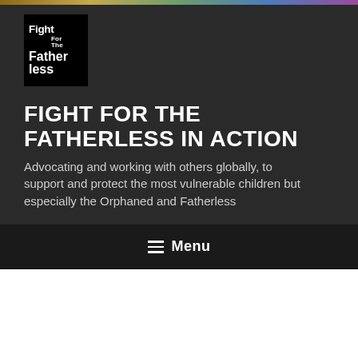[Figure (logo): Fight For The Fatherless logo — black box with white bold text reading 'Fight For The Fatherless']
FIGHT FOR THE FATHERLESS IN ACTION
Advocating and working with others globally, to support and protect the most vulnerable children but especially the Orphaned and Fatherless
☰ Menu